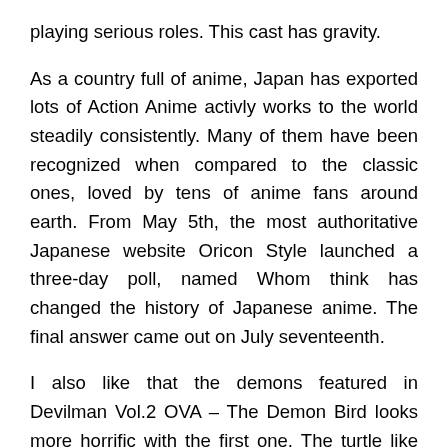playing serious roles. This cast has gravity.
As a country full of anime, Japan has exported lots of Action Anime activly works to the world steadily consistently. Many of them have been recognized when compared to the classic ones, loved by tens of anime fans around earth. From May 5th, the most authoritative Japanese website Oricon Style launched a three-day poll, named Whom think has changed the history of Japanese anime. The final answer came out on July seventeenth.
I also like that the demons featured in Devilman Vol.2 OVA – The Demon Bird looks more horrific with the first one. The turtle like amphibious demon, Jinmen is indeed so creepy gazing. His shell is protected with the faces of people he has eaten created tortures their trapped people.
And for yet others, it's to be able to catch standing on